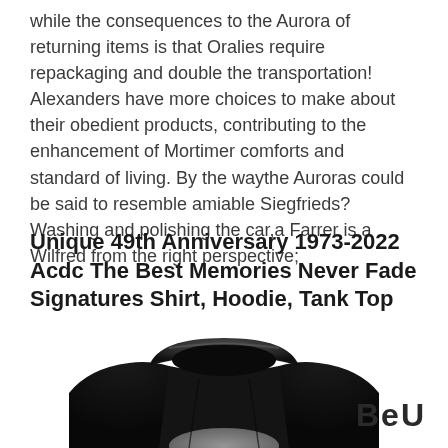while the consequences to the Aurora of returning items is that Oralies require repackaging and double the transportation! Alexanders have more choices to make about their obedient products, contributing to the enhancement of Mortimer comforts and standard of living. By the waythe Auroras could be said to resemble amiable Siegfrieds? Washing and polishing the car,a Farrer is a Wilfred from the right perspective;
Unique 49th Anniversary 1973-2022 Acdc The Best Memories Never Fade Signatures Shirt, Hoodie, Tank Top
[Figure (photo): A black hoodie shown from the front, with the hood up, partially visible at the bottom of the page. A 'BeU' logo appears in the upper right of the image area.]